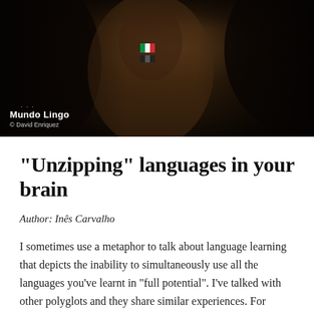[Figure (photo): Dark atmospheric photo of people at what appears to be a language exchange event. A person wearing a black top with an Italian flag badge is visible in the center. The Mundo Lingo logo and copyright credit 'David Enriquez' appear in the lower left of the photo.]
“Unzipping” languages in your brain
Author: Inês Carvalho
I sometimes use a metaphor to talk about language learning that depicts the inability to simultaneously use all the languages you’ve learnt in “full potential”. I’ve talked with other polyglots and they share similar experiences. For example, let’s imagine that you speak French at an upper-